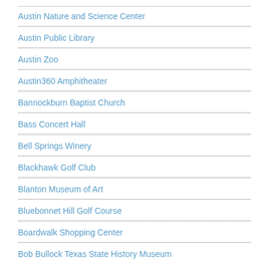Austin Nature and Science Center
Austin Public Library
Austin Zoo
Austin360 Amphitheater
Bannockburn Baptist Church
Bass Concert Hall
Bell Springs Winery
Blackhawk Golf Club
Blanton Museum of Art
Bluebonnet Hill Golf Course
Boardwalk Shopping Center
Bob Bullock Texas State History Museum